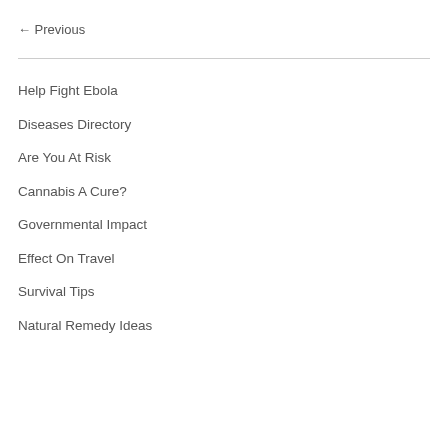← Previous
Help Fight Ebola
Diseases Directory
Are You At Risk
Cannabis A Cure?
Governmental Impact
Effect On Travel
Survival Tips
Natural Remedy Ideas